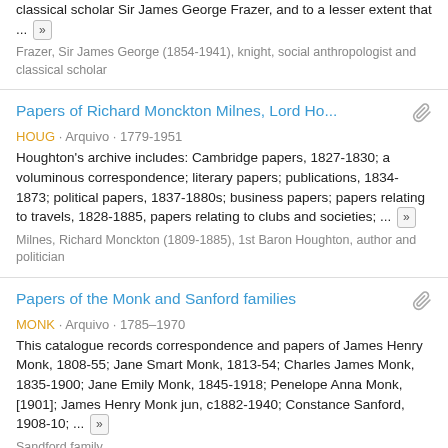classical scholar Sir James George Frazer, and to a lesser extent that ... »
Frazer, Sir James George (1854-1941), knight, social anthropologist and classical scholar
Papers of Richard Monckton Milnes, Lord Ho...
HOUG · Arquivo · 1779-1951
Houghton's archive includes: Cambridge papers, 1827-1830; a voluminous correspondence; literary papers; publications, 1834-1873; political papers, 1837-1880s; business papers; papers relating to travels, 1828-1885, papers relating to clubs and societies; ... »
Milnes, Richard Monckton (1809-1885), 1st Baron Houghton, author and politician
Papers of the Monk and Sanford families
MONK · Arquivo · 1785–1970
This catalogue records correspondence and papers of James Henry Monk, 1808-55; Jane Smart Monk, 1813-54; Charles James Monk, 1835-1900; Jane Emily Monk, 1845-1918; Penelope Anna Monk, [1901]; James Henry Monk jun, c1882-1940; Constance Sanford, 1908-10; ... »
Sandford family